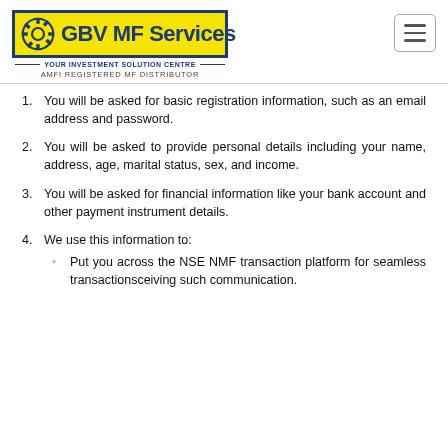GBV MF Services — YOUR INVESTMENT SOLUTION CENTRE — AMFI REGISTERED MF DISTRIBUTOR
You will be asked for basic registration information, such as an email address and password.
You will be asked to provide personal details including your name, address, age, marital status, sex, and income.
You will be asked for financial information like your bank account and other payment instrument details.
We use this information to:
Put you across the NSE NMF transaction platform for seamless transactionsceiving such communication.